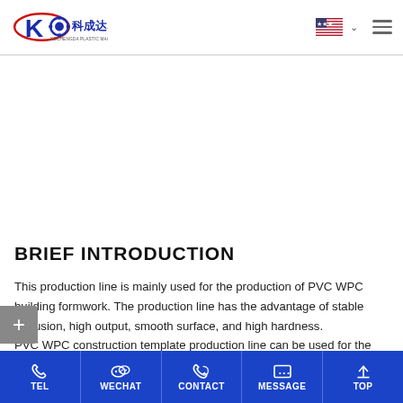Kechengda Plastic Machinery logo header with US flag and navigation
BRIEF INTRODUCTION
This production line is mainly used for the production of PVC WPC building formwork. The production line has the advantage of stable extrusion, high output, smooth surface, and high hardness.
PVC WPC construction template production line can be used for the production building template, wood decorative board, cabinet board,
TEL   WECHAT   CONTACT   MESSAGE   TOP